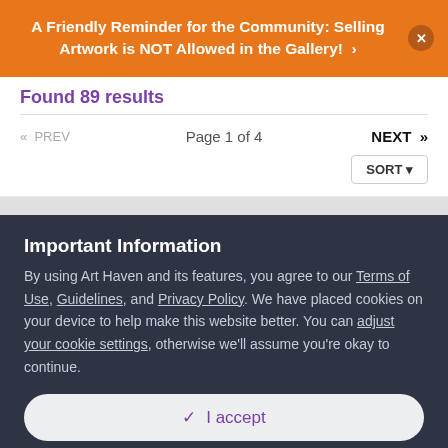A Friendly Reminder for the Community: Selling Artwork is NOT Allowed in the Gallery! ›
Found 89 results
«  PREV    Page 1 of 4    NEXT  »
SORT ▼
Important Information
By using Art Haven and its features, you agree to our Terms of Use, Guidelines, and Privacy Policy. We have placed cookies on your device to help make this website better. You can adjust your cookie settings, otherwise we'll assume you're okay to continue.
✓  I accept